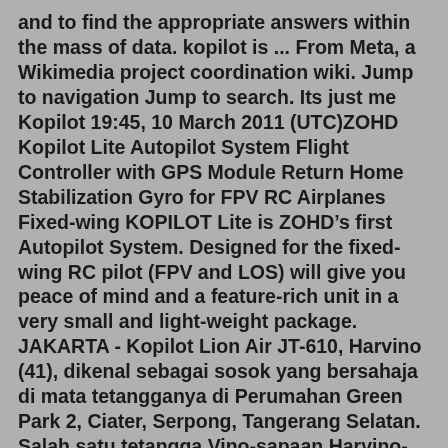and to find the appropriate answers within the mass of data. kopilot is ... From Meta, a Wikimedia project coordination wiki. Jump to navigation Jump to search. Its just me Kopilot 19:45, 10 March 2011 (UTC)ZOHD Kopilot Lite Autopilot System Flight Controller with GPS Module Return Home Stabilization Gyro for FPV RC Airplanes Fixed-wing KOPILOT Lite is ZOHD’s first Autopilot System. Designed for the fixed-wing RC pilot (FPV and LOS) will give you peace of mind and a feature-rich unit in a very small and light-weight package. JAKARTA - Kopilot Lion Air JT-610, Harvino (41), dikenal sebagai sosok yang bersahaja di mata tetangganya di Perumahan Green Park 2, Ciater, Serpong, Tangerang Selatan. Salah satu tetangga Vino-sapaan Harvino-Harun (34), merasa kehilangan sosok pria dengan tiga anak tersebut. Harun mengenang Vino yang sehari sebelum kecelakaan pesawat, sempat ...PARIS, iNews.id - Sebuah pesawat ringan masuk parit setelah melampaui landasan pacu di Bandara